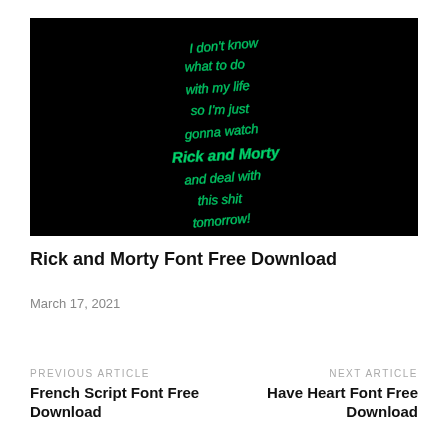[Figure (illustration): Black background image with glowing green hand-written text reading: I don't know what to do with my life so I'm just gonna watch Rick and Morty and deal with this shit tomorrow]
Rick and Morty Font Free Download
March 17, 2021
PREVIOUS ARTICLE
French Script Font Free Download
NEXT ARTICLE
Have Heart Font Free Download